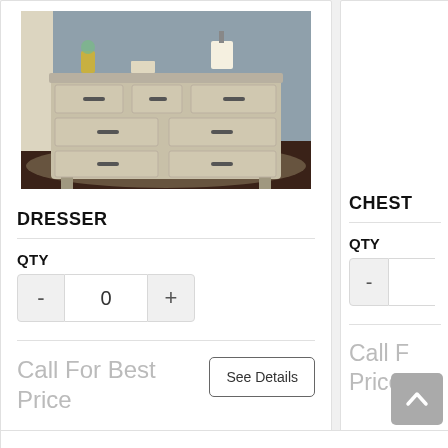[Figure (photo): A gray-toned wooden dresser with 7 drawers (3 rows), dark drawer pulls, displayed in a bedroom setting with lamps, vases, and decor on top, placed on a patterned rug on dark hardwood floors.]
DRESSER
QTY
Call For Best Price
See Details
CHEST
QTY
Call For Best Price